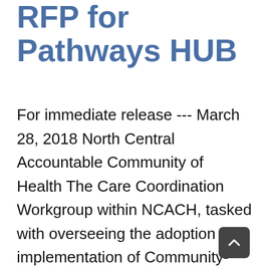RFP for Pathways HUB
For immediate release --- March 28, 2018 North Central Accountable Community of Health The Care Coordination Workgroup within NCACH, tasked with overseeing the adoption and implementation of Community-Based Care Coordination, has released a Request for Proposals (RFP) for agencies to host the Pathways HUB. The Pathways HUB model is an evidence-based community care coordination approach [...]